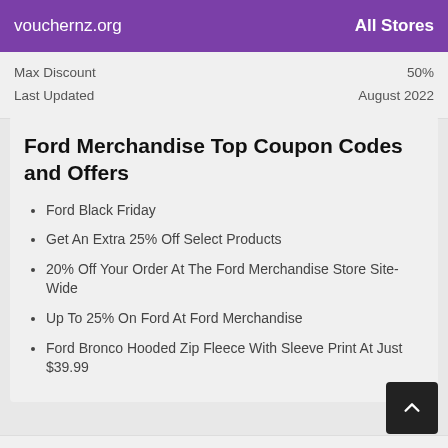vouchernz.org — All Stores
|  |  |
| --- | --- |
| Max Discount | 50% |
| Last Updated | August 2022 |
Ford Merchandise Top Coupon Codes and Offers
Ford Black Friday
Get An Extra 25% Off Select Products
20% Off Your Order At The Ford Merchandise Store Site-Wide
Up To 25% On Ford At Ford Merchandise
Ford Bronco Hooded Zip Fleece With Sleeve Print At Just $39.99